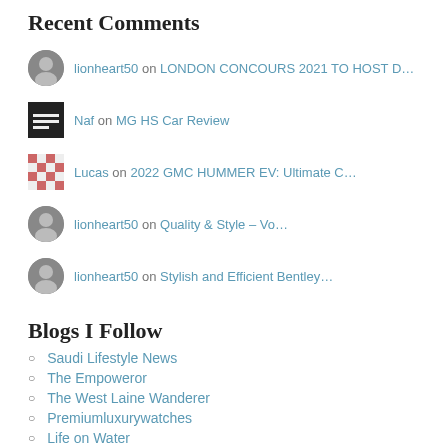Recent Comments
lionheart50 on LONDON CONCOURS 2021 TO HOST D…
Naf on MG HS Car Review
Lucas on 2022 GMC HUMMER EV: Ultimate C…
lionheart50 on Quality & Style – Vo…
lionheart50 on Stylish and Efficient Bentley…
Blogs I Follow
Saudi Lifestyle News
The Empoweror
The West Laine Wanderer
Premiumluxurywatches
Life on Water
[Figure (logo): WordPress logo circle icon at bottom center]